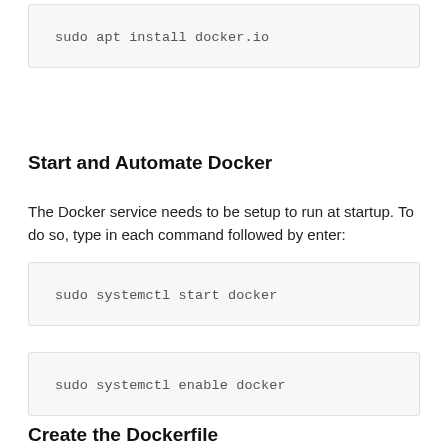sudo apt install docker.io
Start and Automate Docker
The Docker service needs to be setup to run at startup. To do so, type in each command followed by enter:
sudo systemctl start docker
sudo systemctl enable docker
Create the Dockerfile